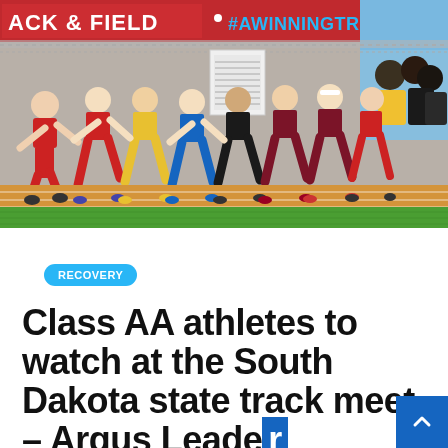[Figure (photo): Track and field race photo showing multiple runners competing on a red track with a chain-link fence in the background. A red banner reads 'TRACK & FIELD' and '#AWINNINGTRADITION'. Green grass infield visible at bottom. Spectators and tents visible at right.]
RECOVERY
Class AA athletes to watch at the South Dakota state track meet – Argus Leader
By Staff   3 months ago